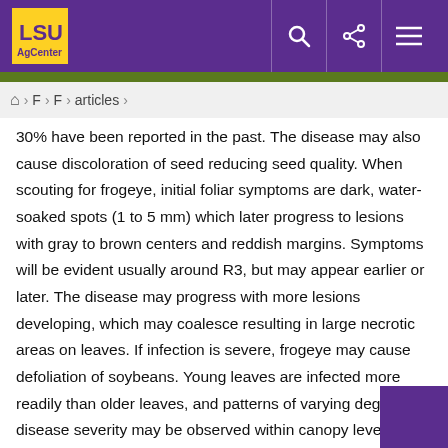LSU AgCenter - articles
30% have been reported in the past. The disease may also cause discoloration of seed reducing seed quality. When scouting for frogeye, initial foliar symptoms are dark, water-soaked spots (1 to 5 mm) which later progress to lesions with gray to brown centers and reddish margins. Symptoms will be evident usually around R3, but may appear earlier or later. The disease may progress with more lesions developing, which may coalesce resulting in large necrotic areas on leaves. If infection is severe, frogeye may cause defoliation of soybeans. Young leaves are infected more readily than older leaves, and patterns of varying degrees of disease severity may be observed within canopy levels. Closer examination with a hand lens, or sometimes with the naked eye, will reveal gray to black conidiophores (reproductive structures) within